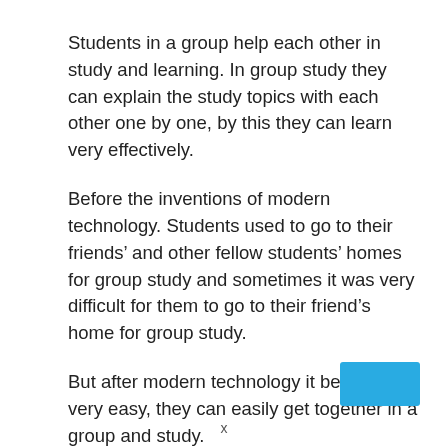Students in a group help each other in study and learning. In group study they can explain the study topics with each other one by one, by this they can learn very effectively.
Before the inventions of modern technology. Students used to go to their friends’ and other fellow students’ homes for group study and sometimes it was very difficult for them to go to their friend’s home for group study.
But after modern technology it becomes very easy, they can easily get together in a group and study.
There is no need for the students to go to othe…